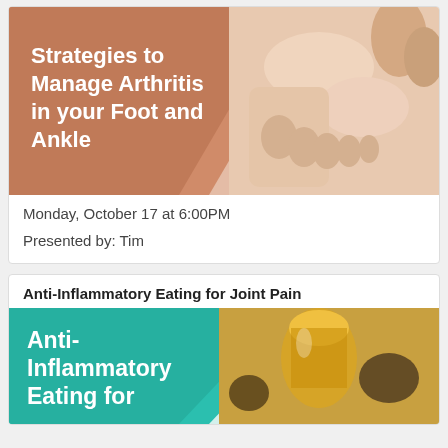[Figure (illustration): Promotional banner for arthritis webinar: salmon/terracotta colored triangular background on left with white bold text 'Strategies to Manage Arthritis in your Foot and Ankle', and a photo of a hand/foot with visible bone structure on the right side]
Monday, October 17 at 6:00PM
Presented by: Tim
Anti-Inflammatory Eating for Joint Pain
[Figure (illustration): Promotional banner for anti-inflammatory eating webinar: teal/cyan colored triangular background on left with white bold text 'Anti-Inflammatory Eating for...' cut off, and a photo of olive oil and seeds on the right]